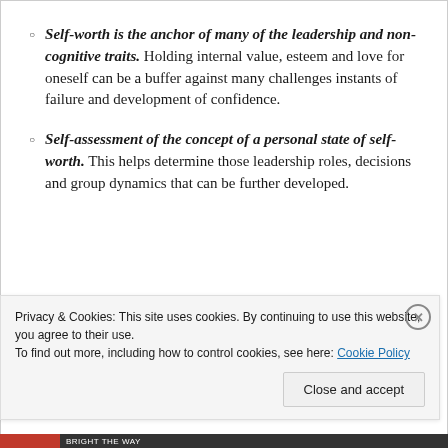Self-worth is the anchor of many of the leadership and non-cognitive traits. Holding internal value, esteem and love for oneself can be a buffer against many challenges instants of failure and development of confidence.
Self-assessment of the concept of a personal state of self-worth. This helps determine those leadership roles, decisions and group dynamics that can be further developed.
Privacy & Cookies: This site uses cookies. By continuing to use this website, you agree to their use. To find out more, including how to control cookies, see here: Cookie Policy